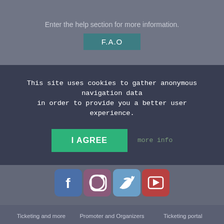Enter the help section for more information.
F.A.O
This site uses cookies to gather anonymous navigation data in order to provide you a better user experience.
I AGREE
more info
[Figure (logo): Social media icons: Facebook, Instagram, Twitter, YouTube]
Ticketing and more
Promoter and Organizers
Ticketing portal
Fairs and Exhibitors
Fiscal Ticketing System
Contact us
Business Events
Box office
Who we are
Find events
Access control
From the editorial staff ...
Help
Pass
Event locations